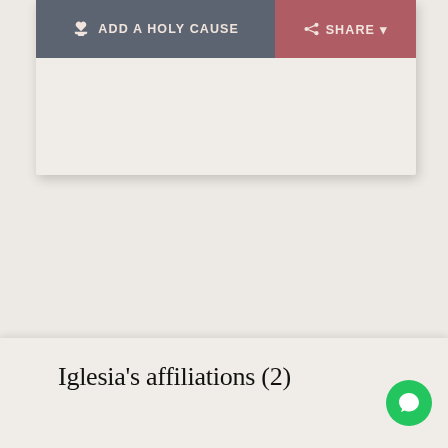[Figure (screenshot): Top portion of a web page card showing two buttons: 'ADD A HOLY CAUSE' (dark grey) and 'SHARE' with dropdown arrow (muted red/rose), on a light beige background.]
Iglesia's affiliations (2)
[Figure (other): Green circular chat/message button in the bottom-right corner.]